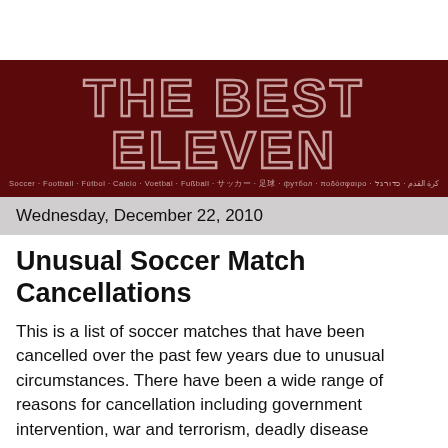THE BEST ELEVEN
Soccer · Football · Fútbol · Calcio · Voetbal · Fußball · サッカー · 足球 · футбол · ποδόσφαιρο · كرة القدم · כדורגל
Wednesday, December 22, 2010
Unusual Soccer Match Cancellations
This is a list of soccer matches that have been cancelled over the past few years due to unusual circumstances. There have been a wide range of reasons for cancellation including government intervention, war and terrorism, deadly disease outbreaks, wild boars, burning toilet paper, David Beckham issues, and more. For this list, I chose to avoid weather issues, player deaths, hooligans, riots and other similar issues. Feel free to add any memorable match